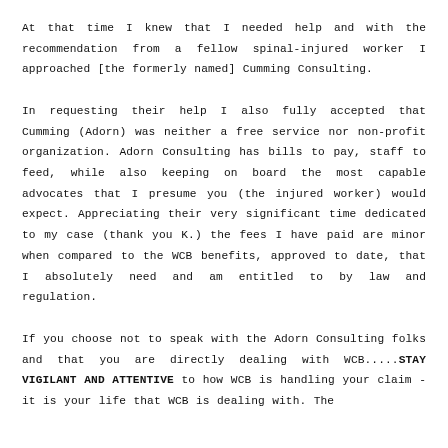At that time I knew that I needed help and with the recommendation from a fellow spinal-injured worker I approached [the formerly named] Cumming Consulting.

In requesting their help I also fully accepted that Cumming (Adorn) was neither a free service nor non-profit organization. Adorn Consulting has bills to pay, staff to feed, while also keeping on board the most capable advocates that I presume you (the injured worker) would expect. Appreciating their very significant time dedicated to my case (thank you K.) the fees I have paid are minor when compared to the WCB benefits, approved to date, that I absolutely need and am entitled to by law and regulation.

If you choose not to speak with the Adorn Consulting folks and that you are directly dealing with WCB.....STAY VIGILANT AND ATTENTIVE to how WCB is handling your claim - it is your life that WCB is dealing with. The